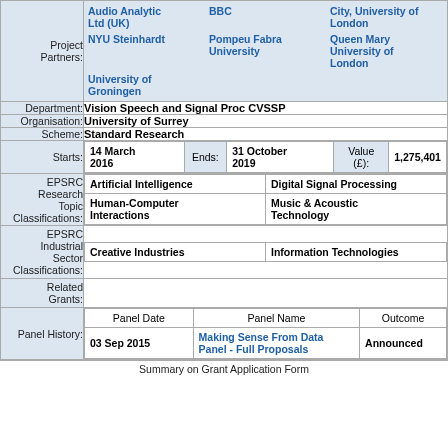| Project Partners: | Audio Analytic Ltd (UK) | BBC | City, University of London | NYU Steinhardt | Pompeu Fabra University | Queen Mary University of London | University of Groningen |
| Department: | Vision Speech and Signal Proc CVSSP |
| Organisation: | University of Surrey |
| Scheme: | Standard Research |
| Starts: | 14 March 2016 | Ends: 31 October 2019 | Value (£): 1,275,401 |
| EPSRC Research Topic Classifications: | Artificial Intelligence | Digital Signal Processing | Human-Computer Interactions | Music & Acoustic Technology |
| EPSRC Industrial Sector Classifications: | Creative Industries | Information Technologies |
| Related Grants: |  |
| Panel History: | Panel Date | Panel Name | Outcome | 03 Sep 2015 | Making Sense From Data Panel - Full Proposals | Announced |
Summary on Grant Application Form